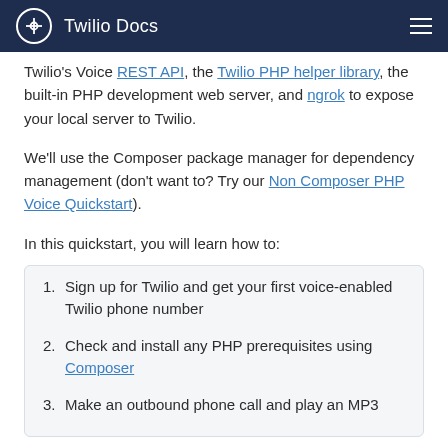Twilio Docs
Twilio's Voice REST API, the Twilio PHP helper library, the built-in PHP development web server, and ngrok to expose your local server to Twilio.
We'll use the Composer package manager for dependency management (don't want to? Try our Non Composer PHP Voice Quickstart).
In this quickstart, you will learn how to:
Sign up for Twilio and get your first voice-enabled Twilio phone number
Check and install any PHP prerequisites using Composer
Make an outbound phone call and play an MP3